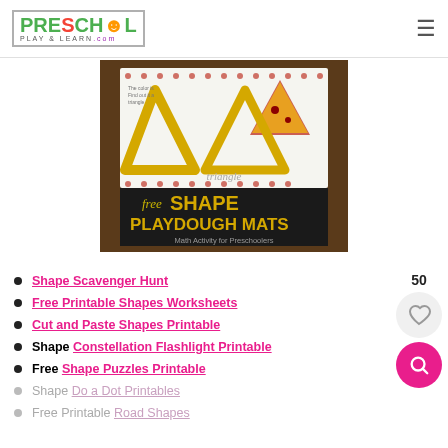Preschool Play & Learn .com
[Figure (photo): Photo of yellow playdough shaped into triangles on a worksheet, with text overlay: 'free SHAPE PLAYDOUGH MATS Math Activity for Preschoolers']
Shape Scavenger Hunt
Free Printable Shapes Worksheets
Cut and Paste Shapes Printable
Shape Constellation Flashlight Printable
Free Shape Puzzles Printable
Shape Do a Dot Printables
Free Printable Road Shapes